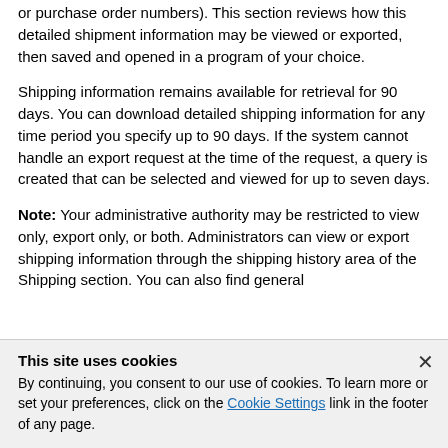or purchase order numbers). This section reviews how this detailed shipment information may be viewed or exported, then saved and opened in a program of your choice.
Shipping information remains available for retrieval for 90 days. You can download detailed shipping information for any time period you specify up to 90 days. If the system cannot handle an export request at the time of the request, a query is created that can be selected and viewed for up to seven days.
Note: Your administrative authority may be restricted to view only, export only, or both. Administrators can view or export shipping information through the shipping history area of the Shipping section. You can also find general
This site uses cookies
By continuing, you consent to our use of cookies. To learn more or set your preferences, click on the Cookie Settings link in the footer of any page.